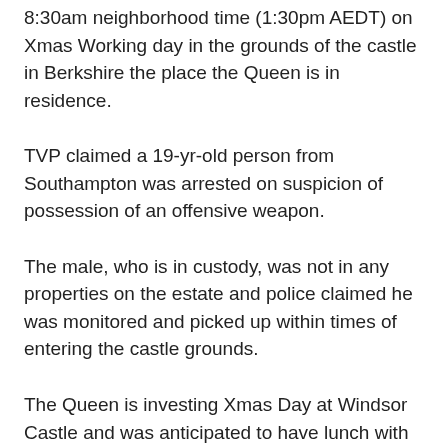8:30am neighborhood time (1:30pm AEDT) on Xmas Working day in the grounds of the castle in Berkshire the place the Queen is in residence.
TVP claimed a 19-yr-old person from Southampton was arrested on suspicion of possession of an offensive weapon.
The male, who is in custody, was not in any properties on the estate and police claimed he was monitored and picked up within times of entering the castle grounds.
The Queen is investing Xmas Day at Windsor Castle and was anticipated to have lunch with the Prince of Wales and the Duchess of Cornwall, and the Earl and Countess of Wessex.
Charles, Camilla, Edward and Sophie, together with their little ones Woman Louise and James, Viscount Severn, attended a church company in St George's Chapel in the